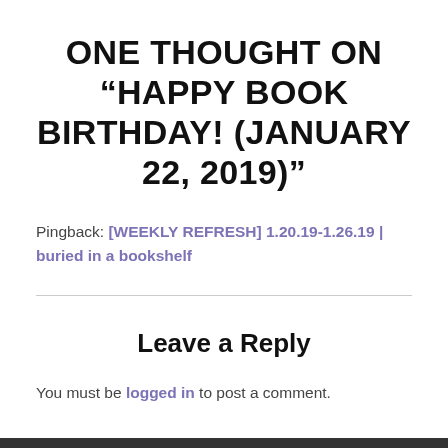ONE THOUGHT ON “HAPPY BOOK BIRTHDAY! (JANUARY 22, 2019)”
Pingback: [WEEKLY REFRESH] 1.20.19-1.26.19 | buried in a bookshelf
Leave a Reply
You must be logged in to post a comment.